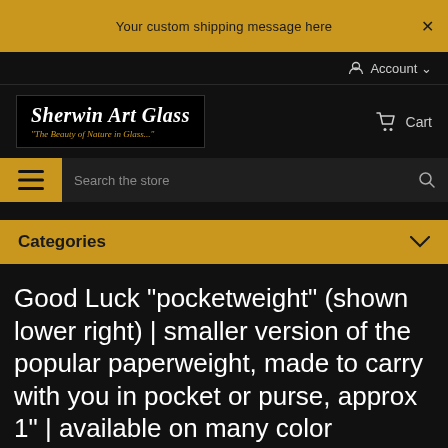Your custom shipping message here
Account
[Figure (logo): Sherwin Art Glass logo with tagline 'The Beauty of Nature in Glass...']
Cart
Search the store
Categories
Good Luck "pocketweight" (shown lower right) | smaller version of the popular paperweight, made to carry with you in pocket or purse, approx 1" | available on many color backgrounds ~ currently Sold Out! ~ see Below for Note!